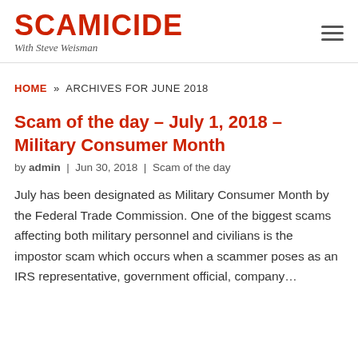SCAMICIDE With Steve Weisman
HOME » ARCHIVES FOR JUNE 2018
Scam of the day – July 1, 2018 – Military Consumer Month
by admin | Jun 30, 2018 | Scam of the day
July has been designated as Military Consumer Month by the Federal Trade Commission. One of the biggest scams affecting both military personnel and civilians is the impostor scam which occurs when a scammer poses as an IRS representative, government official, company…